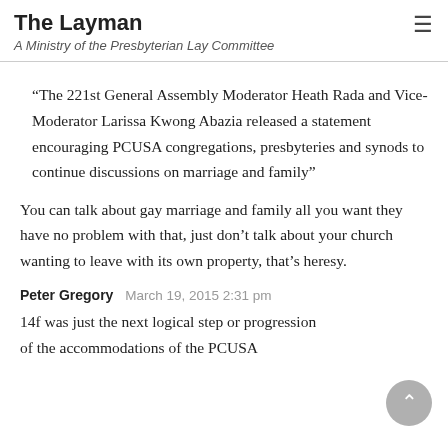The Layman
A Ministry of the Presbyterian Lay Committee
“The 221st General Assembly Moderator Heath Rada and Vice-Moderator Larissa Kwong Abazia released a statement encouraging PCUSA congregations, presbyteries and synods to continue discussions on marriage and family”
You can talk about gay marriage and family all you want they have no problem with that, just don’t talk about your church wanting to leave with its own property, that’s heresy.
Peter Gregory   March 19, 2015 2:31 pm
14f was just the next logical step or progression of the accommodations of the PCUSA